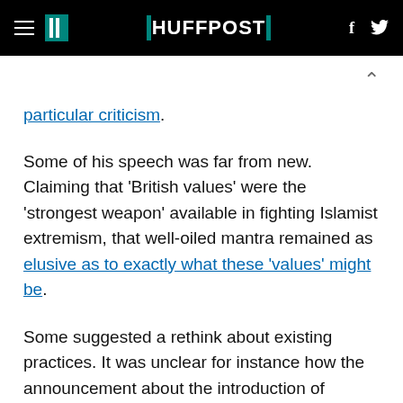HuffPost navigation header with hamburger menu, logo, Facebook and Twitter icons
particular criticism.
Some of his speech was far from new. Claiming that 'British values' were the 'strongest weapon' available in fighting Islamist extremism, that well-oiled mantra remained as elusive as to exactly what these 'values' might be.
Some suggested a rethink about existing practices. It was unclear for instance how the announcement about the introduction of specific de-radicalisation programmes might differ from